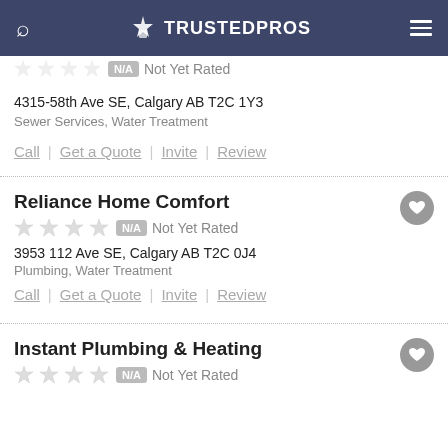TRUSTEDPROS
Not Yet Rated
4315-58th Ave SE, Calgary AB T2C 1Y3
Sewer Services, Water Treatment
Call | Get a Quote | Invite | Review
Reliance Home Comfort
Not Yet Rated
3953 112 Ave SE, Calgary AB T2C 0J4
Plumbing, Water Treatment
Call | Get a Quote | Invite | Review
Instant Plumbing & Heating
Not Yet Rated